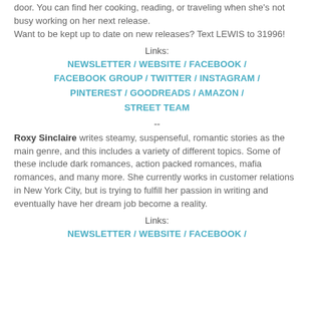door. You can find her cooking, reading, or traveling when she's not busy working on her next release.
Want to be kept up to date on new releases? Text LEWIS to 31996!
Links:
NEWSLETTER / WEBSITE / FACEBOOK / FACEBOOK GROUP / TWITTER / INSTAGRAM / PINTEREST / GOODREADS / AMAZON / STREET TEAM
--
Roxy Sinclaire writes steamy, suspenseful, romantic stories as the main genre, and this includes a variety of different topics. Some of these include dark romances, action packed romances, mafia romances, and many more. She currently works in customer relations in New York City, but is trying to fulfill her passion in writing and eventually have her dream job become a reality.
Links:
NEWSLETTER / WEBSITE / FACEBOOK /